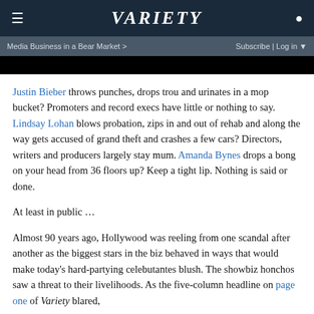VARIETY — navigation bar with hamburger menu and user icon
Media Business in a Bear Market >   Subscribe | Log in ▼
Justin Bieber throws punches, drops trou and urinates in a mop bucket? Promoters and record execs have little or nothing to say. Lindsay Lohan blows probation, zips in and out of rehab and along the way gets accused of grand theft and crashes a few cars? Directors, writers and producers largely stay mum. Amanda Bynes drops a bong on your head from 36 floors up? Keep a tight lip. Nothing is said or done.
At least in public …
Almost 90 years ago, Hollywood was reeling from one scandal after another as the biggest stars in the biz behaved in ways that would make today's hard-partying celebutantes blush. The showbiz honchos saw a threat to their livelihoods. As the five-column headline on page one of Variety blared,